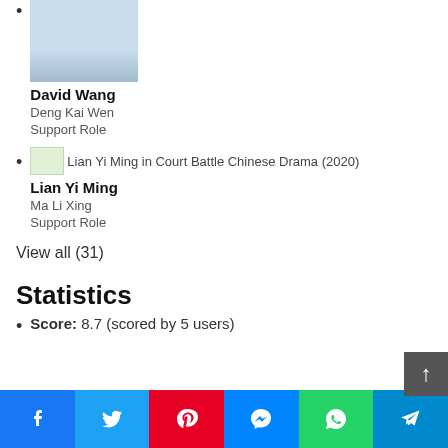[Figure (photo): Photo of David Wang, a young Asian man in a blue shirt, cropped at top]
David Wang
Deng Kai Wen
Support Role
[Figure (photo): Broken image placeholder: Lian Yi Ming in Court Battle Chinese Drama (2020)]
Lian Yi Ming
Ma Li Xing
Support Role
View all (31)
Statistics
Score: 8.7 (scored by 5 users)